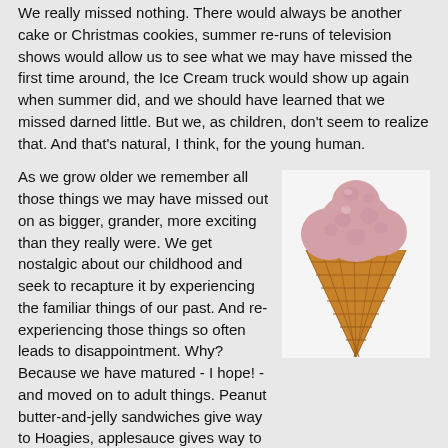We really missed nothing. There would always be another cake or Christmas cookies, summer re-runs of television shows would allow us to see what we may have missed the first time around, the Ice Cream truck would show up again when summer did, and we should have learned that we missed darned little. But we, as children, don't seem to realize that. And that's natural, I think, for the young human.
As we grow older we remember all those things we may have missed out on as bigger, grander, more exciting than they really were. We get nostalgic about our childhood and seek to recapture it by experiencing the familiar things of our past. And re-experiencing those things so often leads to disappointment. Why? Because we have matured - I hope! - and moved on to adult things. Peanut butter-and-jelly sandwiches give way to Hoagies, applesauce gives way to salads, Saturday morning cartoons are pushed aside by the News, blocks and
[Figure (photo): A strawberry or pink ice cream scoop on a waffle cone, shown against a light background.]